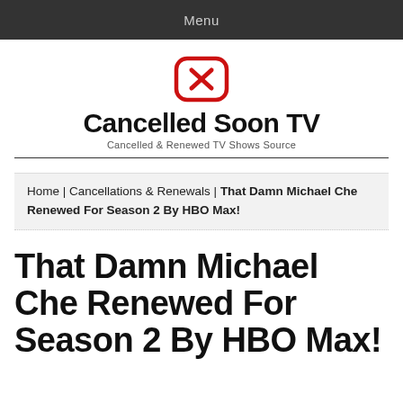Menu
[Figure (logo): Cancelled Soon TV logo: red rounded square with X icon above bold text 'Cancelled Soon TV' and subtitle 'Cancelled & Renewed TV Shows Source']
Home | Cancellations & Renewals | That Damn Michael Che Renewed For Season 2 By HBO Max!
That Damn Michael Che Renewed For Season 2 By HBO Max!